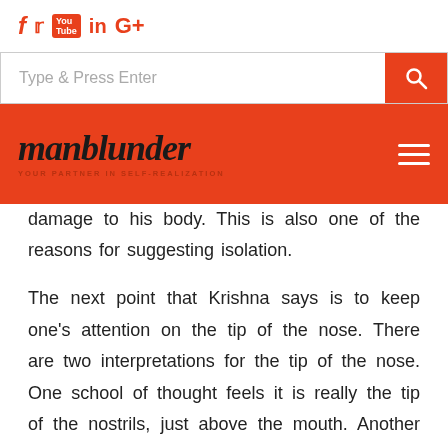f 🐦 You in G+
Type & Press Enter [search]
manblunder — YOUR PARTNER IN SELF-REALIZATION
damage to his body. This is also one of the reasons for suggesting isolation.
The next point that Krishna says is to keep one's attention on the tip of the nose. There are two interpretations for the tip of the nose. One school of thought feels it is really the tip of the nostrils, just above the mouth. Another school of thought feels it is the point of ajna chakra, or the meeting point of the two eyebrows. When one has to concentrate on the tip of the